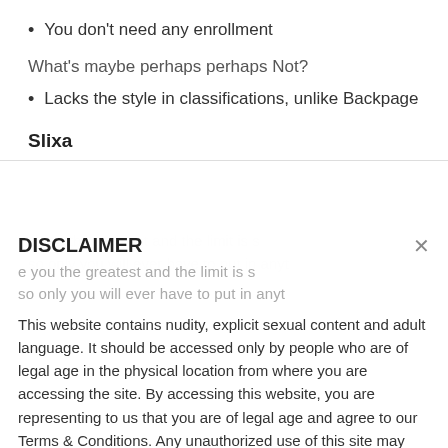You don't need any enrollment
What's maybe perhaps perhaps Not?
Lacks the style in classifications, unlike Backpage
Slixa
DISCLAIMER
This website contains nudity, explicit sexual content and adult language. It should be accessed only by people who are of legal age in the physical location from where you are accessing the site. By accessing this website, you are representing to us that you are of legal age and agree to our Terms & Conditions. Any unauthorized use of this site may violate state, federal and/or foreign law.
While sex-match.org does not create, produce or edit any